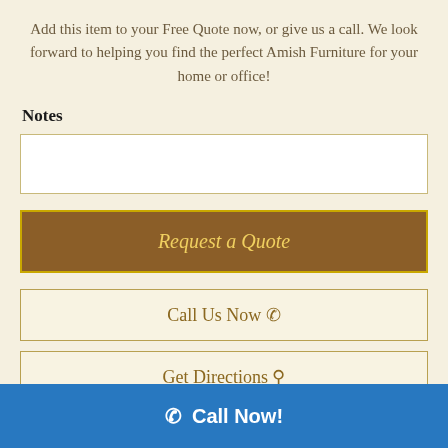Add this item to your Free Quote now, or give us a call. We look forward to helping you find the perfect Amish Furniture for your home or office!
Notes
[Figure (other): Text input box for notes]
[Figure (other): Request a Quote button - brown background with yellow text and border]
[Figure (other): Call Us Now button with phone icon - outlined style]
[Figure (other): Get Directions button with location icon - outlined style, partially visible]
Call Now!